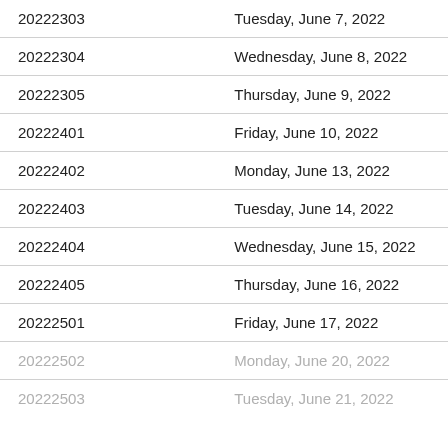| 20222303 | Tuesday, June 7, 2022 |
| 20222304 | Wednesday, June 8, 2022 |
| 20222305 | Thursday, June 9, 2022 |
| 20222401 | Friday, June 10, 2022 |
| 20222402 | Monday, June 13, 2022 |
| 20222403 | Tuesday, June 14, 2022 |
| 20222404 | Wednesday, June 15, 2022 |
| 20222405 | Thursday, June 16, 2022 |
| 20222501 | Friday, June 17, 2022 |
| 20222502 | Monday, June 20, 2022 |
| 20222503 | Tuesday, June 21, 2022 |